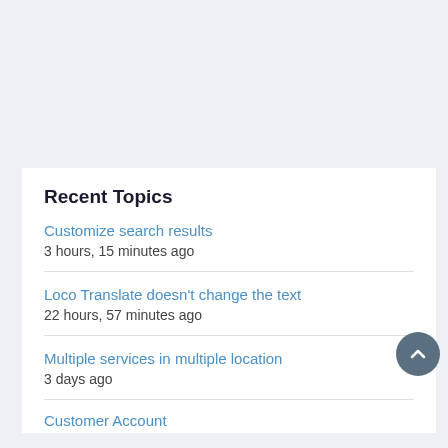Recent Topics
Customize search results
3 hours, 15 minutes ago
Loco Translate doesn't change the text
22 hours, 57 minutes ago
Multiple services in multiple location
3 days ago
Customer Account